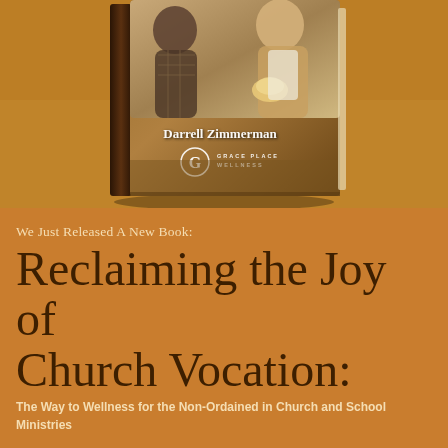[Figure (photo): 3D book cover render showing 'Reclaiming the Joy of Church Vocation' by Darrell Zimmerman, Grace Place Wellness logo, with two people on the cover, displayed on an orange background]
We Just Released A New Book:
Reclaiming the Joy of Church Vocation:
The Way to Wellness for the Non-Ordained in Church and School Ministries
VIEW OUR BOOKS